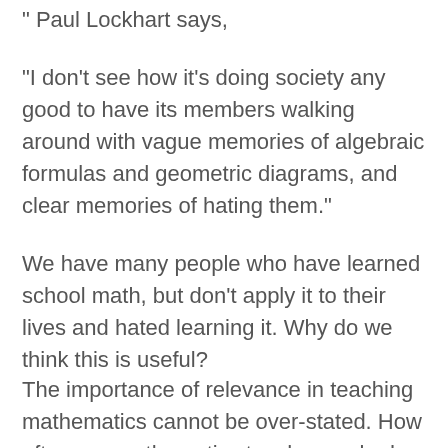" Paul Lockhart says,
"I don't see how it's doing society any good to have its members walking around with vague memories of algebraic formulas and geometric diagrams, and clear memories of hating them."
We have many people who have learned school math, but don't apply it to their lives and hated learning it. Why do we think this is useful?
The importance of relevance in teaching mathematics cannot be over-stated. How often are mathematics teachers asked